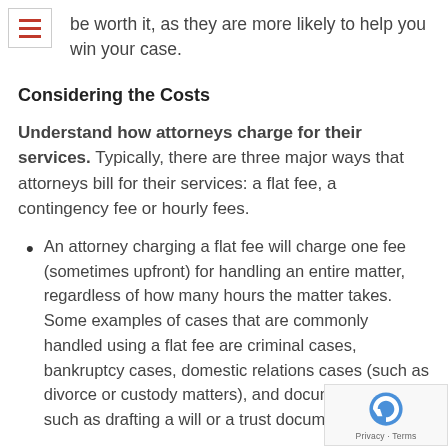be worth it, as they are more likely to help you win your case.
Considering the Costs
Understand how attorneys charge for their services. Typically, there are three major ways that attorneys bill for their services: a flat fee, a contingency fee or hourly fees.
An attorney charging a flat fee will charge one fee (sometimes upfront) for handling an entire matter, regardless of how many hours the matter takes. Some examples of cases that are commonly handled using a flat fee are criminal cases, bankruptcy cases, domestic relations cases (such as divorce or custody matters), and document drafting, such as drafting a will or a trust document.
An attorney charging a contingency fee does not collect legal fees from the client unless the attorney recovers money for the client, either